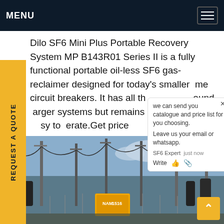MENU
Dilo SF6 Mini Plus Portable Recovery System MP B143R01 Series II is a fully functional portable oil-less SF6 gas-reclaimer designed for today's smaller volume circuit breakers. It has all the features found in larger systems but remains compact and easy to operate.Get price
[Figure (photo): Electrical substation with circuit breakers, transformers and high-voltage equipment. Yellow shipping container visible in center foreground. Workers and metal structures visible.]
we can send you catalogue and price list for you choosing.
Leave us your email or whatsapp.
SF6 Expert  just now
Write